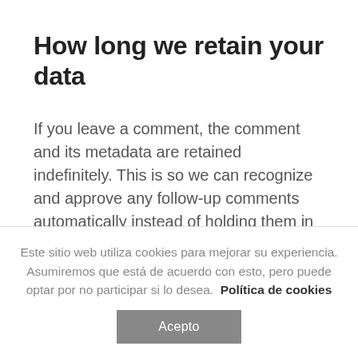How long we retain your data
If you leave a comment, the comment and its metadata are retained indefinitely. This is so we can recognize and approve any follow-up comments automatically instead of holding them in a moderation queue.
For users that register on our website (if any), we also store the personal information they provide in their user profile. All users can see, edit, or delete their
Este sitio web utiliza cookies para mejorar su experiencia. Asumiremos que está de acuerdo con esto, pero puede optar por no participar si lo desea. Política de cookies
Acepto